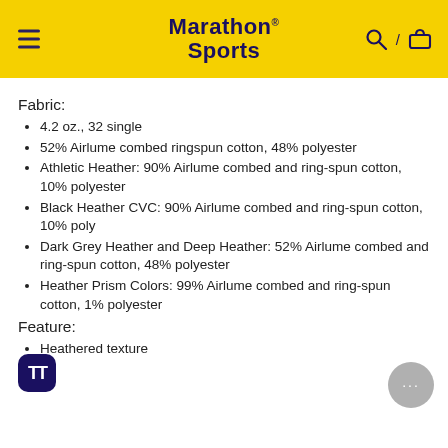Marathon Sports
Fabric:
4.2 oz., 32 single
52% Airlume combed ringspun cotton, 48% polyester
Athletic Heather: 90% Airlume combed and ring-spun cotton, 10% polyester
Black Heather CVC: 90% Airlume combed and ring-spun cotton, 10% poly
Dark Grey Heather and Deep Heather: 52% Airlume combed and ring-spun cotton, 48% polyester
Heather Prism Colors: 99% Airlume combed and ring-spun cotton, 1% polyester
Feature:
Heathered texture